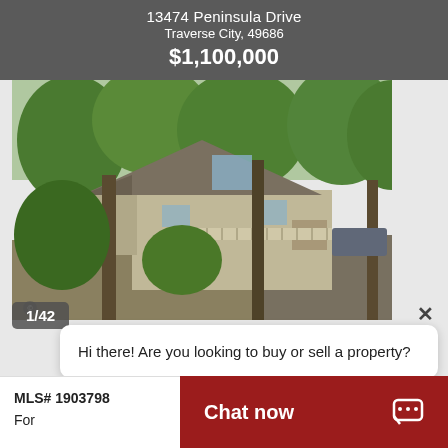13474 Peninsula Drive
Traverse City, 49686
$1,100,000
[Figure (photo): Exterior photo of a multi-story house with large trees in front, a wraparound deck, and a driveway visible on the right side.]
1/42
Hi there! Are you looking to buy or sell a property?
MLS# 1903798
For
IDX
Chat now